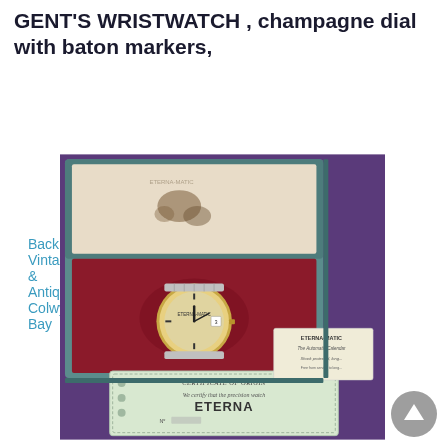ETERNA-MATIC GOLD PLATED CALENDAR GENT'S WRISTWATCH , champagne dial with baton markers,
Back to: Vintage & Antiques, Colwyn Bay
[Figure (photo): A vintage Eterna-Matic gold-plated gent's wristwatch displayed in its original teal blue box with red velvet interior and metal expansion bracelet, accompanied by an Eterna-Matic booklet and a Certificate of Origin on a purple background.]
[Figure (other): Scroll-to-top circular grey button with upward arrow icon]